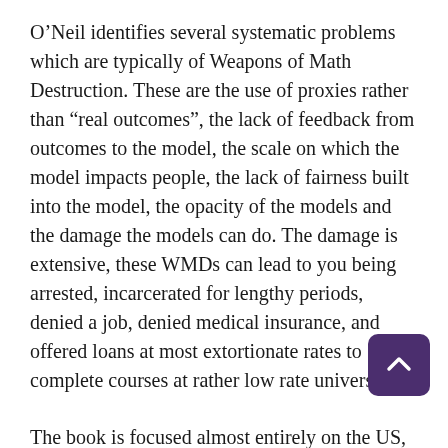O'Neil identifies several systematic problems which are typically of Weapons of Math Destruction. These are the use of proxies rather than “real outcomes”, the lack of feedback from outcomes to the model, the scale on which the model impacts people, the lack of fairness built into the model, the opacity of the models and the damage the models can do. The damage is extensive, these WMDs can lead to you being arrested, incarcerated for lengthy periods, denied a job, denied medical insurance, and offered loans at most extortionate rates to complete courses at rather low rate universities.
The book is focused almost entirely on the US, in fact the only mention of a place outside the US is of policing in the “city of Kent”. However, O’Neil does seem to rate the data and privacy legislation in Europe – where consumers should be told of the purposes to which will be put when they supply it. Even in the States the